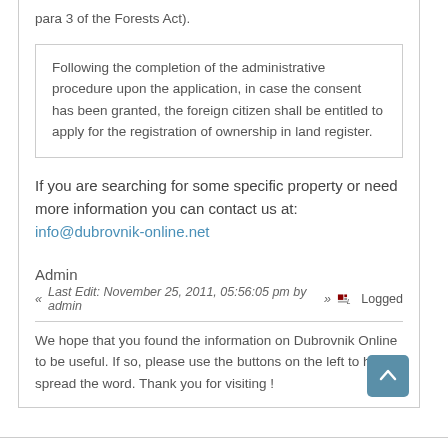para 3 of the Forests Act).
Following the completion of the administrative procedure upon the application, in case the consent has been granted, the foreign citizen shall be entitled to apply for the registration of ownership in land register.
If you are searching for some specific property or need more information you can contact us at: info@dubrovnik-online.net
Admin
« Last Edit: November 25, 2011, 05:56:05 pm by admin »  Logged
We hope that you found the information on Dubrovnik Online to be useful. If so, please use the buttons on the left to help spread the word. Thank you for visiting !